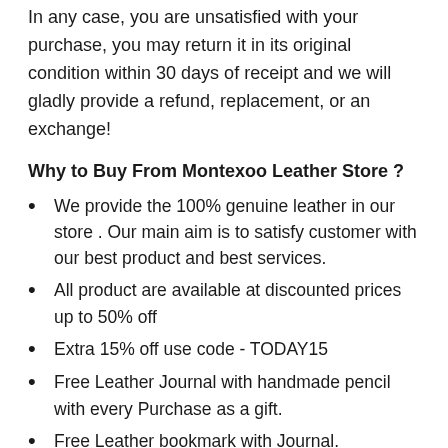In any case, you are unsatisfied with your purchase, you may return it in its original condition within 30 days of receipt and we will gladly provide a refund, replacement, or an exchange!
Why to Buy From Montexoo Leather Store ?
We provide the 100% genuine leather in our store . Our main aim is to satisfy customer with our best product and best services.
All product are available at discounted prices up to 50% off
Extra 15% off use code - TODAY15
Free Leather Journal with handmade pencil with every Purchase as a gift.
Free Leather bookmark with Journal.